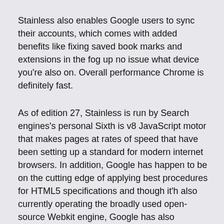Stainless also enables Google users to sync their accounts, which comes with added benefits like fixing saved book marks and extensions in the fog up no issue what device you're also on. Overall performance Chrome is definitely fast.
As of edition 27, Stainless is run by Search engines's personal Sixth is v8 JavaScript motor that makes pages at rates of speed that have been setting up a standard for modern internet browsers. In addition, Google has happen to be on the cutting edge of applying best procedures for HTML5 specifications and though it'h also currently operating the broadly used open-source Webkit engine, Google has also announced programs to proceed to Blink in the close to future. Cover up Search engines has non-stop arranged the regular for swiftness, balance and security and Stainless's many version improvements,